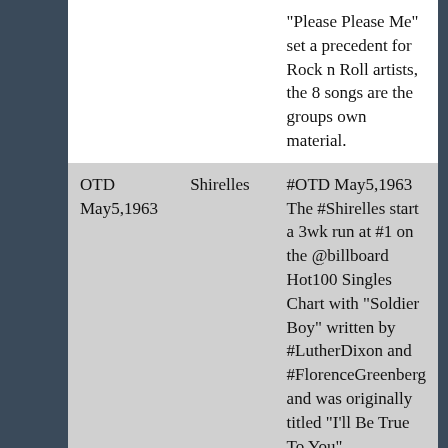| Date | Artist | Description |
| --- | --- | --- |
|  |  | "Please Please Me" set a precedent for Rock n Roll artists, the 8 songs are the groups own material. |
| OTD May5,1963 | Shirelles | #OTD May5,1963 The #Shirelles start a 3wk run at #1 on the @billboard Hot100 Singles Chart with "Soldier Boy" written by #LutherDixon and #FlorenceGreenberg and was originally titled "I'll Be True To You" |
| OTD | Beatles | #OTD May5,1965... |